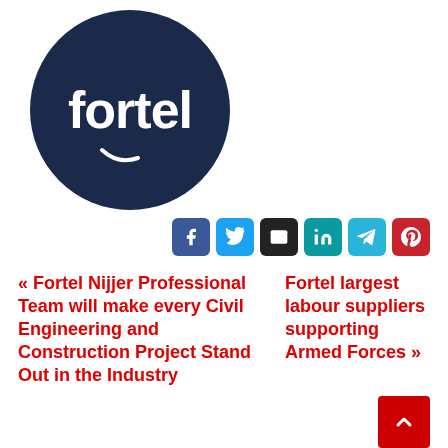[Figure (logo): Fortel logo: white text 'fortel' with a small swoosh on a dark navy circular background]
[Figure (infographic): Row of six social media share buttons: Facebook (blue), Twitter (light blue), Email (dark/black), LinkedIn (teal), Telegram (teal), Pinterest (red)]
« Fortel Nijjer Professional Team will make every Civil Engineering and Construction Project Stand Out in the Industry
Fortel largest labour suppliers supporting Armed Forces »